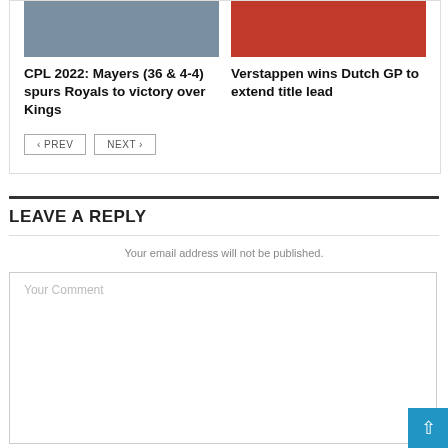[Figure (photo): Two article cards side by side: left shows CPL cricket image, right shows F1 Oracle Red Bull car image]
CPL 2022: Mayers (36 & 4-4) spurs Royals to victory over Kings
Verstappen wins Dutch GP to extend title lead
< PREV   NEXT >
LEAVE A REPLY
Your email address will not be published.
Your Comment